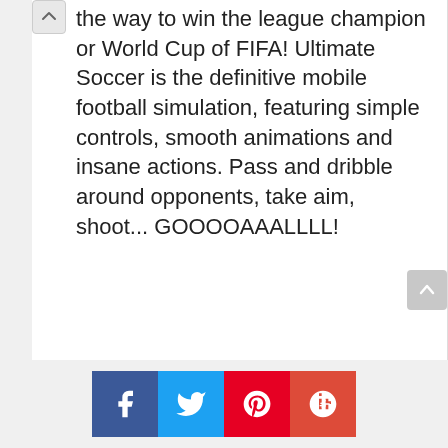the way to win the league champion or World Cup of FIFA! Ultimate Soccer is the definitive mobile football simulation, featuring simple controls, smooth animations and insane actions. Pass and dribble around opponents, take aim, shoot... GOOOOAAALLLL!
[Figure (illustration): Social media sharing buttons: Facebook (blue), Twitter (light blue), Pinterest (red), Google+ (red-orange)]